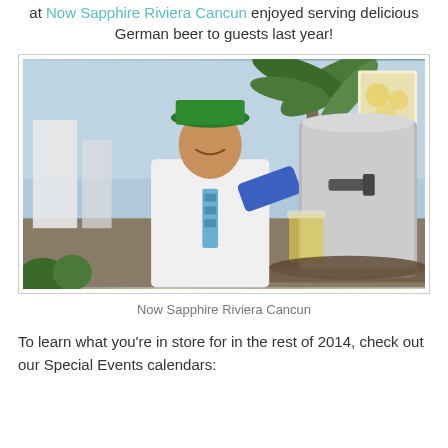at Now Sapphire Riviera Cancun enjoyed serving delicious German beer to guests last year!
[Figure (photo): A smiling man wearing a green hat and blue gloves pours beer from a large stainless steel keg into a glass mug outdoors at a resort, with palm trees and ocean in the background.]
Now Sapphire Riviera Cancun
To learn what you're in store for in the rest of 2014, check out our Special Events calendars: